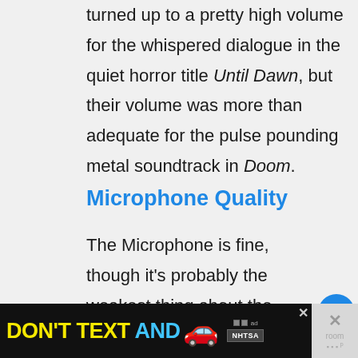turned up to a pretty high volume for the whispered dialogue in the quiet horror title Until Dawn, but their volume was more than adequate for the pulse pounding metal soundtrack in Doom.
Microphone Quality
The Microphone is fine, though it's probably the weakest thing about the Cloud MIX Buds. It doesn't sound bad, per se, although the audio does sound a little tinny. The bigger issue is that it's an omni-directional microphone. That
[Figure (other): Advertisement banner: DON'T TEXT AND [car emoji] with NHTSA logo and ad badge]